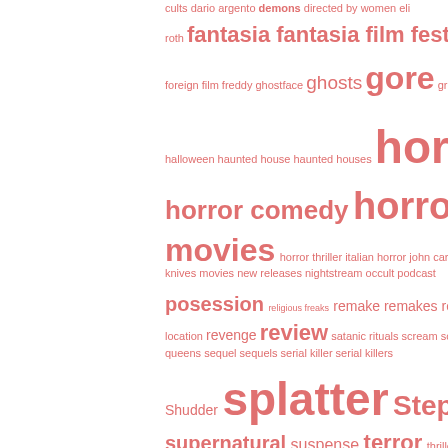[Figure (other): Tag cloud with horror-related terms in varying font sizes, all in a salmon/coral pink color on white background. Terms include: cults, dario argento, demons, directed by women, eli roth, fantasia, fantasia film festival, film festivals, foreign film, freddy, ghostface, ghosts, gore, gross, guts, halloween, haunted house, haunted houses, horror, horror comedy, horror films, horror movies, horror thriller, italian horror, john carpenter, knives, movies, new releases, nightstream, occult, podcast, posession, religious freaks, remake, remakes, remote location, revenge, review, satanic rituals, scream, scream queens, sequel, sequels, serial killer, serial killers, Shudder, splatter, Stephen King, supernatural, suspense, terror, thriller, torture, torture porn, uncomfortable, undead, vampires]